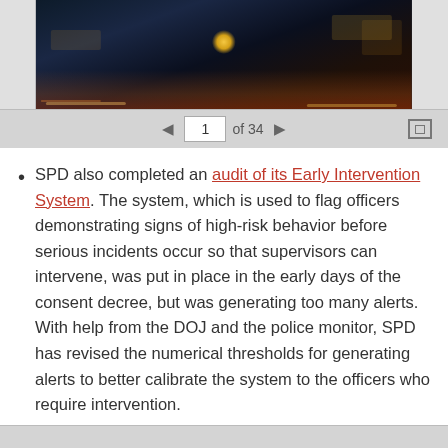[Figure (screenshot): A document viewer showing a nighttime cityscape photo with navigation controls showing page 1 of 34]
SPD also completed an audit of its Early Intervention System. The system, which is used to flag officers demonstrating signs of high-risk behavior before serious incidents occur so that supervisors can intervene, was put in place in the early days of the consent decree, but was generating too many alerts. With help from the DOJ and the police monitor, SPD has revised the numerical thresholds for generating alerts to better calibrate the system to the officers who require intervention.